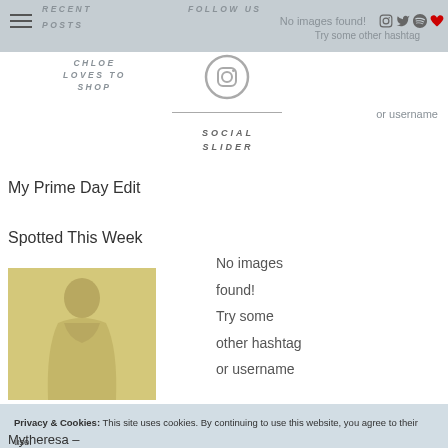RECENT POSTS | FOLLOW US | No images found! | Try some other hashtag
CHLOE LOVES TO SHOP
SOCIAL SLIDER
My Prime Day Edit
Spotted This Week
[Figure (photo): Woman in yellow-green ruffled dress]
No images found!
Try some other hashtag or username
Privacy & Cookies: This site uses cookies. By continuing to use this website, you agree to their use.
To find out more, including how to control cookies, see here: Cookie Policy
Close and accept
Mytheresa –